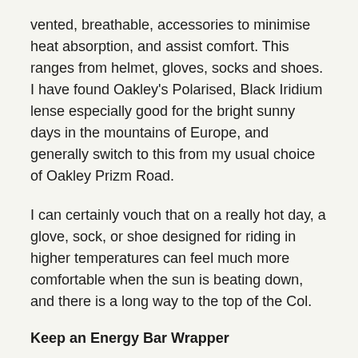vented, breathable, accessories to minimise heat absorption, and assist comfort. This ranges from helmet, gloves, socks and shoes. I have found Oakley's Polarised, Black Iridium lense especially good for the bright sunny days in the mountains of Europe, and generally switch to this from my usual choice of Oakley Prizm Road.
I can certainly vouch that on a really hot day, a glove, sock, or shoe designed for riding in higher temperatures can feel much more comfortable when the sun is beating down, and there is a long way to the top of the Col.
Keep an Energy Bar Wrapper
During the big days on the bike, it's easy to accumulate a number of energy bar wrappers. When emptying my jersey pockets at a roadside bin